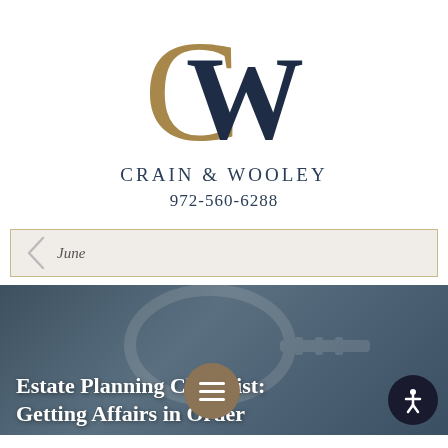[Figure (logo): CW monogram logo for Crain & Wooley law firm — large gold/tan C overlapping with dark navy W]
CRAIN & WOOLEY
972-560-6288
June
[Figure (photo): Dark blue-grey background image with keys, overlaid with bold white text reading 'Estate Planning Checklist: Getting Affairs in Order']
Estate Planning Checklist: Getting Affairs in Order